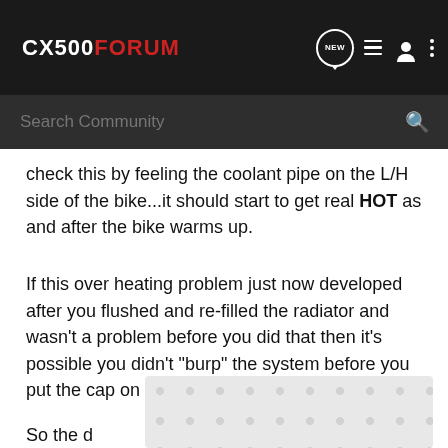CX500FORUM
Search Community
check this by feeling the coolant pipe on the L/H side of the bike...it should start to get real HOT as and after the bike warms up.
If this over heating problem just now developed after you flushed and re-filled the radiator and wasn't a problem before you did that then it's possible you didn't "burp" the system before you put the cap on the radiator.
So the d... the work or...